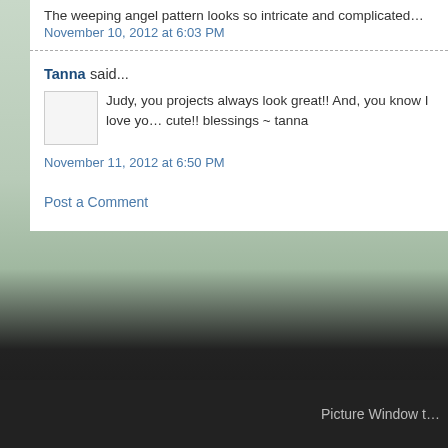The weeping angel pattern looks so intricate and complicated…
November 10, 2012 at 6:03 PM
Tanna said...
Judy, you projects always look great!! And, you know I love yo… cute!! blessings ~ tanna
November 11, 2012 at 6:50 PM
Post a Comment
Newer Post
Home
Subscribe to: Post Comments (Atom)
Picture Window t…